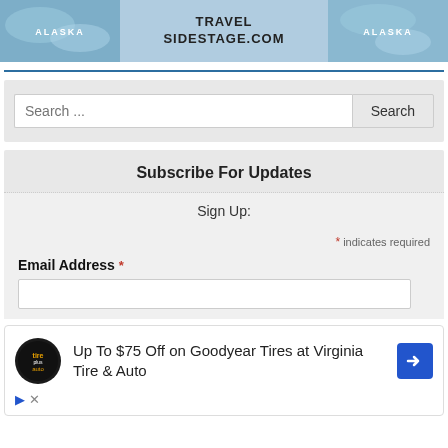[Figure (illustration): Website banner for travelsidestage.com showing Alaska icy blue imagery on left and right with centered bold text 'TRAVEL SIDESTAGE.COM']
Search ...
Subscribe For Updates
Sign Up:
* indicates required
Email Address *
[Figure (screenshot): Advertisement: Up To $75 Off on Goodyear Tires at Virginia Tire & Auto with Tires Plus Auto logo and blue directional arrow icon]